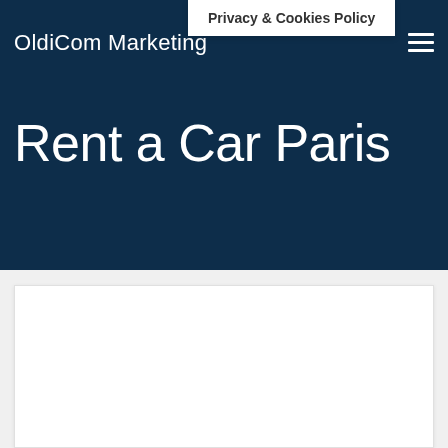OldiCom Marketing
Privacy & Cookies Policy
Rent a Car Paris